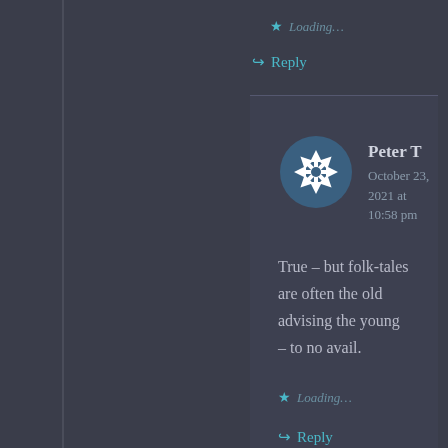Loading...
Reply
Peter T
October 23, 2021 at 10:58 pm
True – but folk-tales are often the old advising the young – to no avail.
Loading...
Reply